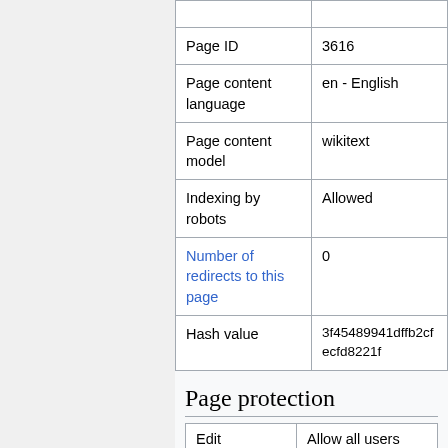| Property | Value |
| --- | --- |
| Page ID | 3616 |
| Page content language | en - English |
| Page content model | wikitext |
| Indexing by robots | Allowed |
| Number of redirects to this page | 0 |
| Hash value | 3f45489941dffb2cfecfd8221f |
Page protection
| Action | Permission |
| --- | --- |
| Edit | Allow all users (infinite) |
| Move | Allow all users (infinite) |